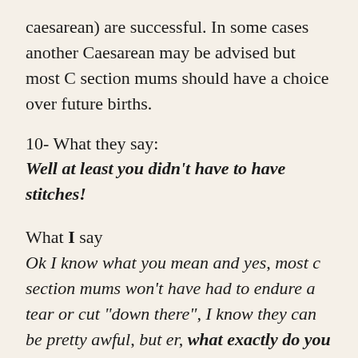caesarean) are successful. In some cases another Caesarean may be advised but most C section mums should have a choice over future births.
10- What they say: Well at least you didn't have to have stitches!
What I say Ok I know what you mean and yes, most c section mums won't have had to endure a tear or cut "down there", I know they can be pretty awful, but er, what exactly do you think is holding my entire abdomen together right